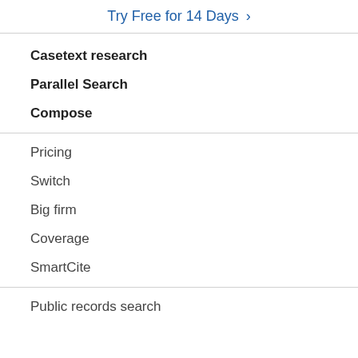Try Free for 14 Days >
Casetext research
Parallel Search
Compose
Pricing
Switch
Big firm
Coverage
SmartCite
Public records search